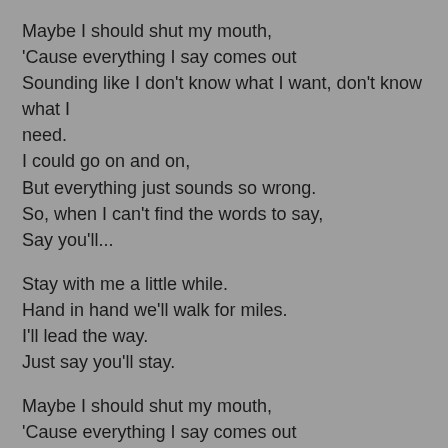Maybe I should shut my mouth,
'Cause everything I say comes out
Sounding like I don't know what I want, don't know what I need.
I could go on and on,
But everything just sounds so wrong.
So, when I can't find the words to say,
Say you'll...
Stay with me a little while.
Hand in hand we'll walk for miles.
I'll lead the way.
Just say you'll stay.
Maybe I should shut my mouth,
'Cause everything I say comes out
Sounding like I don't know what I want, don't know what I need.
I could go on and on,